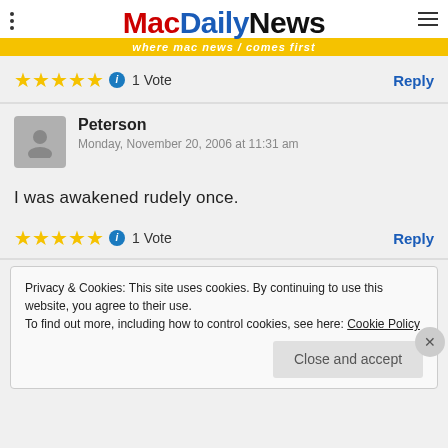MacDailyNews — where mac news comes first
★★★★★ ℹ 1 Vote  Reply
Peterson
Monday, November 20, 2006 at 11:31 am
I was awakened rudely once.
★★★★★ ℹ 1 Vote  Reply
Privacy & Cookies: This site uses cookies. By continuing to use this website, you agree to their use.
To find out more, including how to control cookies, see here: Cookie Policy
Close and accept